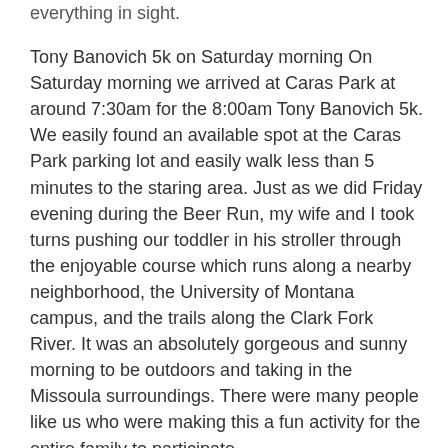everything in sight.
Tony Banovich 5k on Saturday morning On Saturday morning we arrived at Caras Park at around 7:30am for the 8:00am Tony Banovich 5k. We easily found an available spot at the Caras Park parking lot and easily walk less than 5 minutes to the staring area. Just as we did Friday evening during the Beer Run, my wife and I took turns pushing our toddler in his stroller through the enjoyable course which runs along a nearby neighborhood, the University of Montana campus, and the trails along the Clark Fork River. It was an absolutely gorgeous and sunny morning to be outdoors and taking in the Missoula surroundings. There were many people like us who were making this a fun activity for the entire family to participate.
Farmer's market and afternoon BibRave